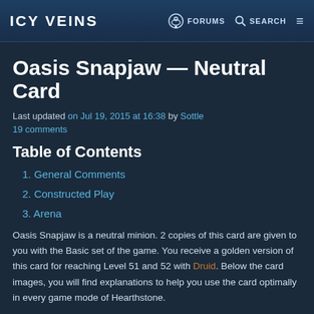ICY VEINS | FORUMS | SEARCH
Oasis Snapjaw — Neutral Card
Last updated on Jul 19, 2015 at 16:38 by Sottle
19 comments
Table of Contents
1. General Comments
2. Constructed Play
3. Arena
Oasis Snapjaw is a neutral minion. 2 copies of this card are given to you with the Basic set of the game. You receive a golden version of this card for reaching Level 51 and 52 with Druid. Below the card images, you will find explanations to help you use the card optimally in every game mode of Hearthstone.